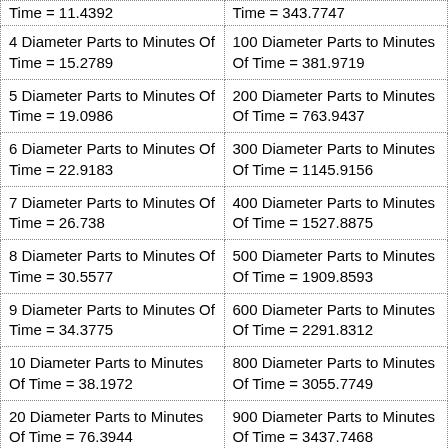| Time = 11.4392 | Time = 343.7747 |
| 4 Diameter Parts to Minutes Of Time = 15.2789 | 100 Diameter Parts to Minutes Of Time = 381.9719 |
| 5 Diameter Parts to Minutes Of Time = 19.0986 | 200 Diameter Parts to Minutes Of Time = 763.9437 |
| 6 Diameter Parts to Minutes Of Time = 22.9183 | 300 Diameter Parts to Minutes Of Time = 1145.9156 |
| 7 Diameter Parts to Minutes Of Time = 26.738 | 400 Diameter Parts to Minutes Of Time = 1527.8875 |
| 8 Diameter Parts to Minutes Of Time = 30.5577 | 500 Diameter Parts to Minutes Of Time = 1909.8593 |
| 9 Diameter Parts to Minutes Of Time = 34.3775 | 600 Diameter Parts to Minutes Of Time = 2291.8312 |
| 10 Diameter Parts to Minutes Of Time = 38.1972 | 800 Diameter Parts to Minutes Of Time = 3055.7749 |
| 20 Diameter Parts to Minutes Of Time = 76.3944 | 900 Diameter Parts to Minutes Of Time = 3437.7468 |
| 30 Diameter Parts to Minutes Of Time = 114.5916 | 1,000 Diameter Parts to Minutes Of Time = 3819.7186 |
| 40 Diameter Parts to Minutes Of | 10,000 Diameter Parts to |